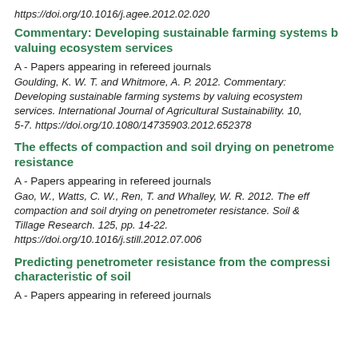https://doi.org/10.1016/j.agee.2012.02.020
Commentary: Developing sustainable farming systems by valuing ecosystem services
A - Papers appearing in refereed journals
Goulding, K. W. T. and Whitmore, A. P. 2012. Commentary: Developing sustainable farming systems by valuing ecosystem services. International Journal of Agricultural Sustainability. 10, 5-7. https://doi.org/10.1080/14735903.2012.652378
The effects of compaction and soil drying on penetrometer resistance
A - Papers appearing in refereed journals
Gao, W., Watts, C. W., Ren, T. and Whalley, W. R. 2012. The effects of compaction and soil drying on penetrometer resistance. Soil & Tillage Research. 125, pp. 14-22. https://doi.org/10.1016/j.still.2012.07.006
Predicting penetrometer resistance from the compression characteristic of soil
A - Papers appearing in refereed journals